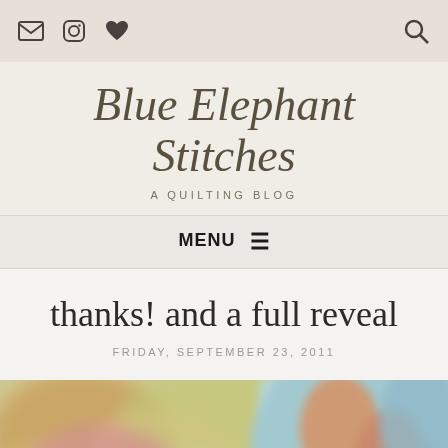Blue Elephant Stitches — navigation icons: email, instagram, heart, search
Blue Elephant Stitches
A QUILTING BLOG
MENU ≡
thanks! and a full reveal
FRIDAY, SEPTEMBER 23, 2011
[Figure (photo): Blurred close-up photograph showing a colorful globe with map details visible on the right side and blurred colorful quilt or fabric on the left side]